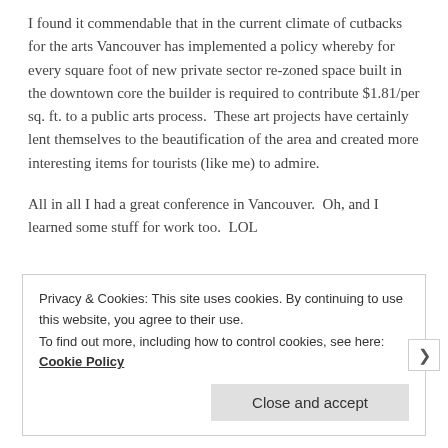I found it commendable that in the current climate of cutbacks for the arts Vancouver has implemented a policy whereby for every square foot of new private sector re-zoned space built in the downtown core the builder is required to contribute $1.81/per sq. ft. to a public arts process.  These art projects have certainly lent themselves to the beautification of the area and created more interesting items for tourists (like me) to admire.
All in all I had a great conference in Vancouver.  Oh, and I learned some stuff for work too.  LOL
Privacy & Cookies: This site uses cookies. By continuing to use this website, you agree to their use.
To find out more, including how to control cookies, see here: Cookie Policy